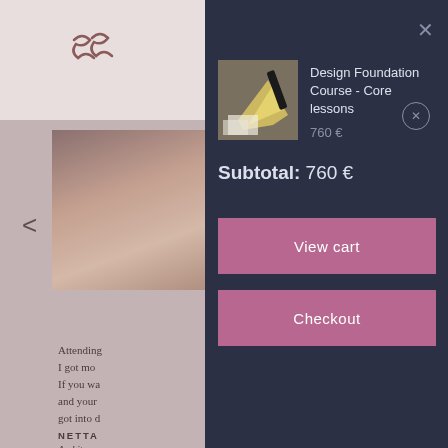[Figure (screenshot): E-commerce shopping cart overlay on an education/design course website. Left panel shows a muted rose background with a logo (SPS) at top, a navigation chevron, a partial image of a person, and testimonial text. Right dark navy panel shows a cart with Design Foundation Course item, subtotal, and two action buttons.]
Design Foundation Course - Core lessons
760 €
Subtotal: 760 €
View cart
Checkout
Attending
I got mo
If you wa
and your
got into d
NETTA
Archite
Oulu